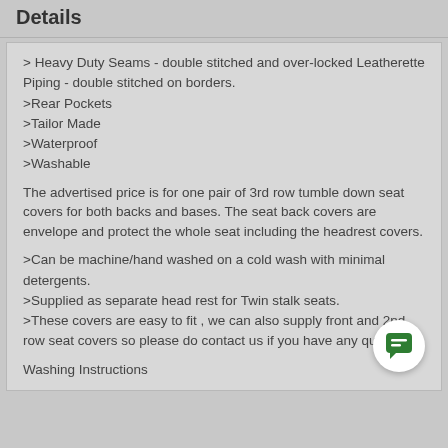Details
> Heavy Duty Seams - double stitched and over-locked Leatherette Piping - double stitched on borders.
>Rear Pockets
>Tailor Made
>Waterproof
>Washable
The advertised price is for one pair of 3rd row tumble down seat covers for both backs and bases. The seat back covers are envelope and protect the whole seat including the headrest covers.
>Can be machine/hand washed on a cold wash with minimal detergents.
>Supplied as separate head rest for Twin stalk seats.
>These covers are easy to fit , we can also supply front and 2nd row seat covers so please do contact us if you have any questions.
Washing Instructions